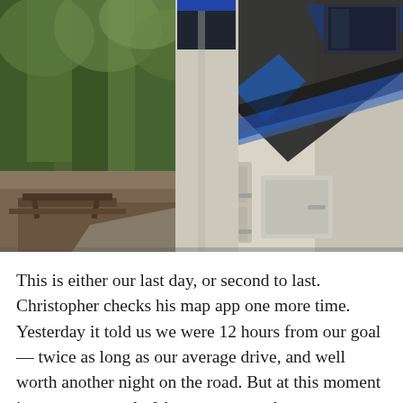[Figure (photo): An RV (motorhome) parked at a wooded campsite. The right side of the large white motorhome with black and blue decorative stripes dominates the right portion of the image. On the left, a picnic table sits among trees in a forested campground setting.]
This is either our last day, or second to last. Christopher checks his map app one more time. Yesterday it told us we were 12 hours from our goal — twice as long as our average drive, and well worth another night on the road. But at this moment it says we are only 9 hours away, and